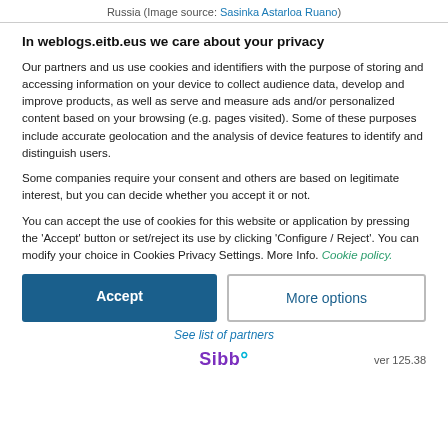Russia (Image source: Sasinka Astarloa Ruano)
In weblogs.eitb.eus we care about your privacy
Our partners and us use cookies and identifiers with the purpose of storing and accessing information on your device to collect audience data, develop and improve products, as well as serve and measure ads and/or personalized content based on your browsing (e.g. pages visited). Some of these purposes include accurate geolocation and the analysis of device features to identify and distinguish users.
Some companies require your consent and others are based on legitimate interest, but you can decide whether you accept it or not.
You can accept the use of cookies for this website or application by pressing the 'Accept' button or set/reject its use by clicking 'Configure / Reject'. You can modify your choice in Cookies Privacy Settings. More Info. Cookie policy.
Accept
More options
See list of partners
Sibbo  ver 125.38